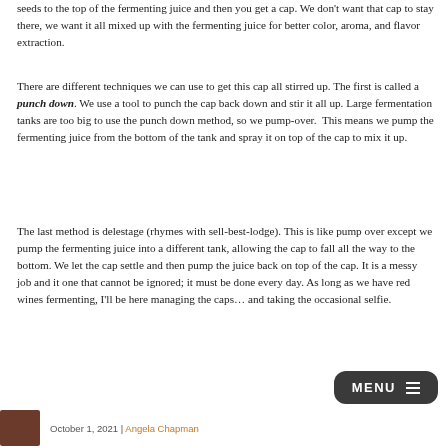seeds to the top of the fermenting juice and then you get a cap. We don't want that cap to stay there, we want it all mixed up with the fermenting juice for better color, aroma, and flavor extraction.
There are different techniques we can use to get this cap all stirred up. The first is called a punch down. We use a tool to punch the cap back down and stir it all up. Large fermentation tanks are too big to use the punch down method, so we pump-over.  This means we pump the fermenting juice from the bottom of the tank and spray it on top of the cap to mix it up.
The last method is delestage (rhymes with sell-best-lodge). This is like pump over except we pump the fermenting juice into a different tank, allowing the cap to fall all the way to the bottom. We let the cap settle and then pump the juice back on top of the cap. It is a messy job and it one that cannot be ignored; it must be done every day. As long as we have red wines fermenting, I'll be here managing the caps… and taking the occasional selfie.
October 1, 2021 | Angela Chapman